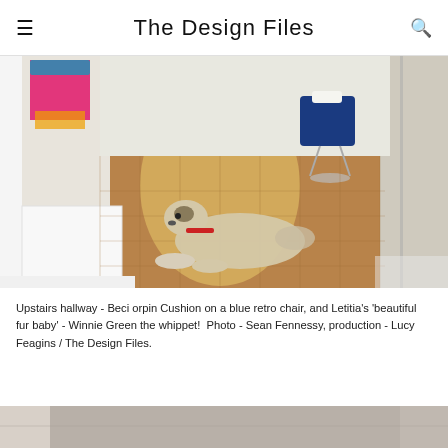The Design Files
[Figure (photo): Interior hallway with warm wooden floors. A whippet dog named Winnie Green lies on the floor. A blue retro office chair with a cushion is visible in the background. Colorful items hang on a white cabinet to the left. Natural light streams in from windows on the right.]
Upstairs hallway - Beci orpin Cushion on a blue retro chair, and Letitia's 'beautiful fur baby' - Winnie Green the whippet!  Photo - Sean Fennessy, production - Lucy Feagins / The Design Files.
[Figure (photo): Bottom strip of another interior photo, partially visible at the very bottom of the page.]